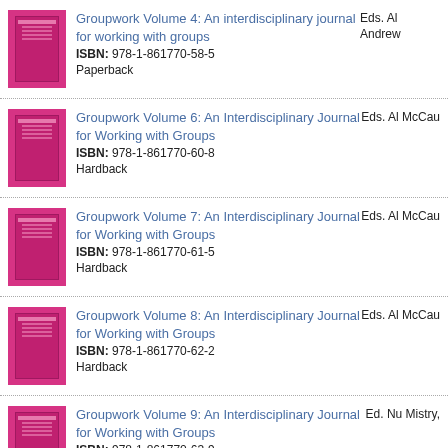Groupwork Volume 4: An interdisciplinary journal for working with groups
ISBN: 978-1-861770-58-5
Paperback
Eds. Al Andrew
Groupwork Volume 6: An Interdisciplinary Journal for Working with Groups
ISBN: 978-1-861770-60-8
Hardback
Eds. Al McCau
Groupwork Volume 7: An Interdisciplinary Journal for Working with Groups
ISBN: 978-1-861770-61-5
Hardback
Eds. Al McCau
Groupwork Volume 8: An Interdisciplinary Journal for Working with Groups
ISBN: 978-1-861770-62-2
Hardback
Eds. Al McCau
Groupwork Volume 9: An Interdisciplinary Journal for Working with Groups
ISBN: 978-1-861770-63-9
Hardback
Ed. Nu Mistry,